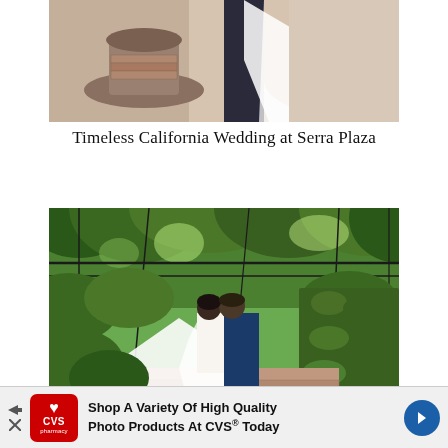[Figure (photo): Top portion of a wedding photo showing a couple near an old stone fountain or well, bride in white gown with veil, groom in dark suit, against a beige/terracotta wall background]
Timeless California Wedding at Serra Plaza
[Figure (photo): Wedding couple kissing under a lush green vine-covered pergola/trellis, bride in white dress with long flowing veil, groom in navy blue suit, surrounded by abundant greenery and dappled sunlight on a brick pathway]
Shop A Variety Of High Quality Photo Products At CVS® Today